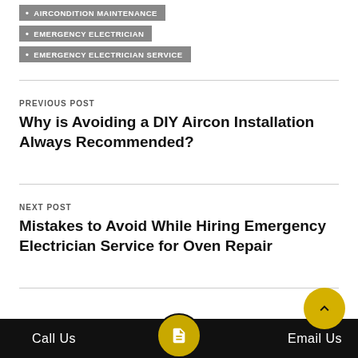AIRCONDITION MAINTENANCE
EMERGENCY ELECTRICIAN
EMERGENCY ELECTRICIAN SERVICE
PREVIOUS POST
Why is Avoiding a DIY Aircon Installation Always Recommended?
NEXT POST
Mistakes to Avoid While Hiring Emergency Electrician Service for Oven Repair
Call Us   Email Us